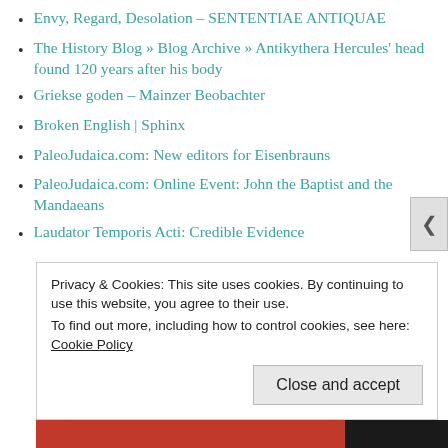Envy, Regard, Desolation – SENTENTIAE ANTIQUAE
The History Blog » Blog Archive » Antikythera Hercules' head found 120 years after his body
Griekse goden – Mainzer Beobachter
Broken English | Sphinx
PaleoJudaica.com: New editors for Eisenbrauns
PaleoJudaica.com: Online Event: John the Baptist and the Mandaeans
Laudator Temporis Acti: Credible Evidence
Privacy & Cookies: This site uses cookies. By continuing to use this website, you agree to their use.
To find out more, including how to control cookies, see here: Cookie Policy
Close and accept